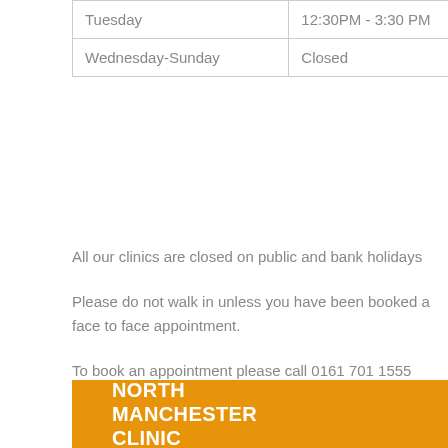| Day | Hours |
| --- | --- |
| Tuesday | 12:30PM - 3:30 PM |
| Wednesday-Sunday | Closed |
All our clinics are closed on public and bank holidays
Please do not walk in unless you have been booked a face to face appointment.
To book an appointment please call 0161 701 1555
NORTH MANCHESTER CLINIC